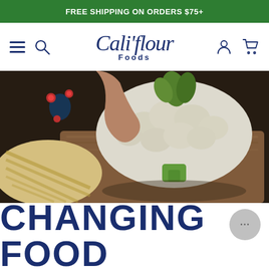FREE SHIPPING ON ORDERS $75+
[Figure (logo): Cali'flour Foods logo in navy blue cursive script with 'Foods' subtitle]
[Figure (photo): Close-up photo of a person cutting a large head of cauliflower on a wooden cutting board]
CHANGING FOOD